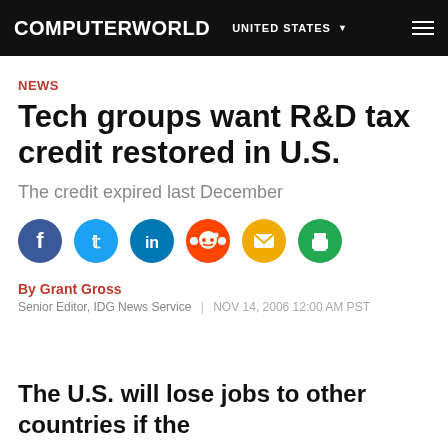COMPUTERWORLD | UNITED STATES
NEWS
Tech groups want R&D tax credit restored in U.S.
The credit expired last December
[Figure (other): Social sharing icons: Facebook, Twitter, LinkedIn, Reddit, Email, Print]
By Grant Gross
Senior Editor, IDG News Service | NOV 14, 2006 12:00 AM PST
The U.S. will lose jobs to other countries if the